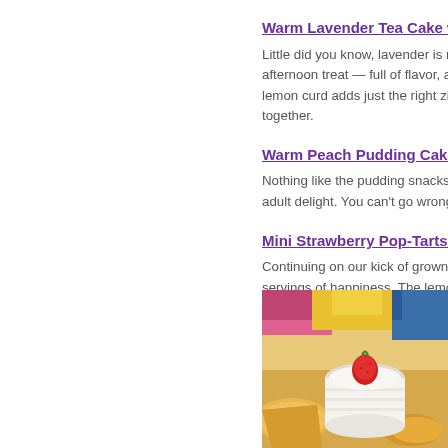Warm Lavender Tea Cake with Home…
Little did you know, lavender is more tha… afternoon treat — full of flavor, and yet … lemon curd adds just the right zing to w… together.
Warm Peach Pudding Cakes with So…
Nothing like the pudding snacks your m… adult delight. You can't go wrong with a…
Mini Strawberry Pop-Tarts with Lemc…
Continuing on our kick of grown-up trea… servings of happiness. The lemon glaze… meant to be shared with children — unl…
[Figure (photo): Close-up photo of mini pastry pop-tarts with a white ramekin containing a strawberry and dipping sauce, arranged on a plate.]